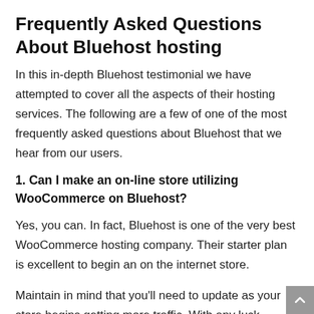Frequently Asked Questions About Bluehost hosting
In this in-depth Bluehost testimonial we have attempted to cover all the aspects of their hosting services. The following are a few of one of the most frequently asked questions about Bluehost that we hear from our users.
1. Can I make an on-line store utilizing WooCommerce on Bluehost?
Yes, you can. In fact, Bluehost is one of the very best WooCommerce hosting company. Their starter plan is excellent to begin an on the internet store.
Maintain in mind that you'll need to update as your store begins getting more traffic. With any luck, already you'll be